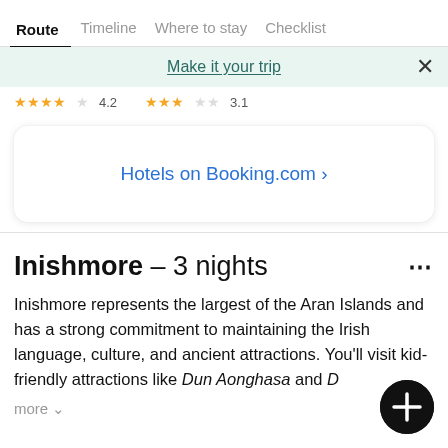Route	Timeline	Where to stay	Checklist
Make it your trip
★★★★☆ 4.2   ★★★☆☆ 3.1
Hotels on Booking.com ›
Inishmore – 3 nights
Inishmore represents the largest of the Aran Islands and has a strong commitment to maintaining the Irish language, culture, and ancient attractions. You'll visit kid-friendly attractions like Dun Aonghasa and D…
more ˅